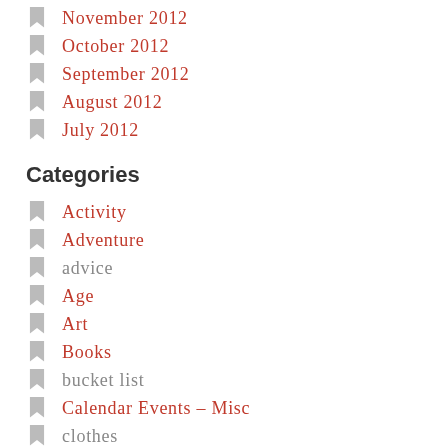November 2012
October 2012
September 2012
August 2012
July 2012
Categories
Activity
Adventure
advice
Age
Art
Books
bucket list
Calendar Events – Misc
clothes
cookery